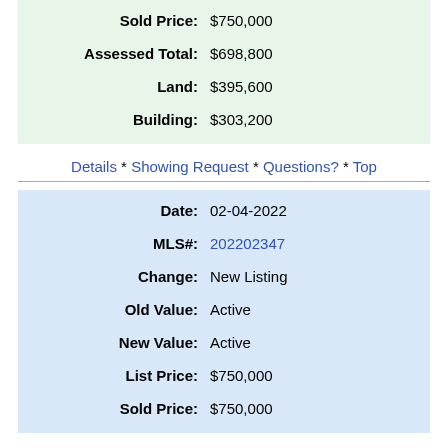| Label | Value |
| --- | --- |
| Sold Price: | $750,000 |
| Assessed Total: | $698,800 |
| Land: | $395,600 |
| Building: | $303,200 |
Details * Showing Request * Questions? * Top
| Label | Value |
| --- | --- |
| Date: | 02-04-2022 |
| MLS#: | 202202347 |
| Change: | New Listing |
| Old Value: | Active |
| New Value: | Active |
| List Price: | $750,000 |
| Sold Price: | $750,000 |